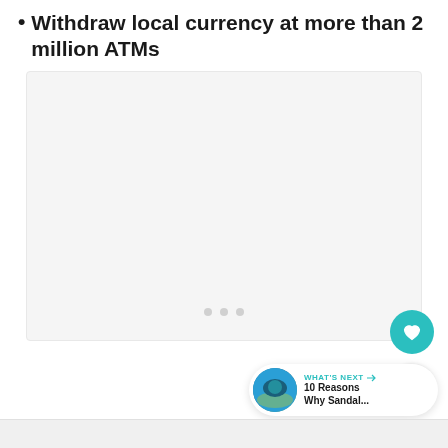Withdraw local currency at more than 2 million ATMs
[Figure (other): Advertisement placeholder with three dots at the bottom indicating a carousel or loading state]
[Figure (other): What's Next widget showing a thumbnail of a beach/resort scene with text '10 Reasons Why Sandal...']